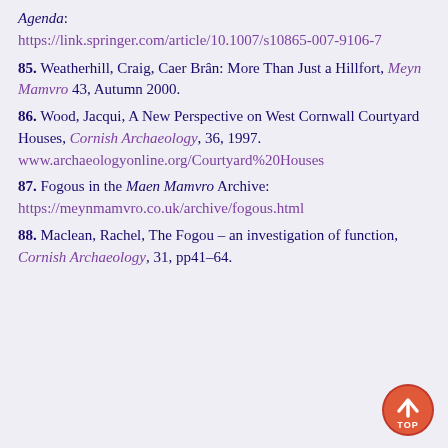Agenda: https://link.springer.com/article/10.1007/s10865-007-9106-7
85. Weatherhill, Craig, Caer Brân: More Than Just a Hillfort, Meyn Mamvro 43, Autumn 2000.
86. Wood, Jacqui, A New Perspective on West Cornwall Courtyard Houses, Cornish Archaeology, 36, 1997. www.archaeologyonline.org/Courtyard%20Houses
87. Fogous in the Maen Mamvro Archive: https://meynmamvro.co.uk/archive/fogous.html
88. Maclean, Rachel, The Fogou – an investigation of function, Cornish Archaeology, 31, pp41-64.
[Figure (illustration): A circular orange/red button with an upward arrow and the word TOP, used as a navigation button to scroll to the top of the page.]